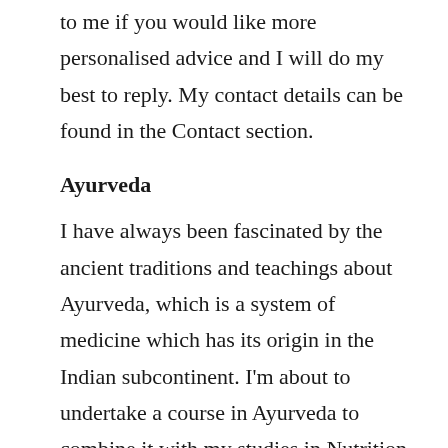to me if you would like more personalised advice and I will do my best to reply. My contact details can be found in the Contact section.
Ayurveda
I have always been fascinated by the ancient traditions and teachings about Ayurveda, which is a system of medicine which has its origin in the Indian subcontinent. I'm about to undertake a course in Ayurveda to combine it with my studies in Nutrition to further my knowledge in Holistic Nutrition field. I am thrilled to share more on my